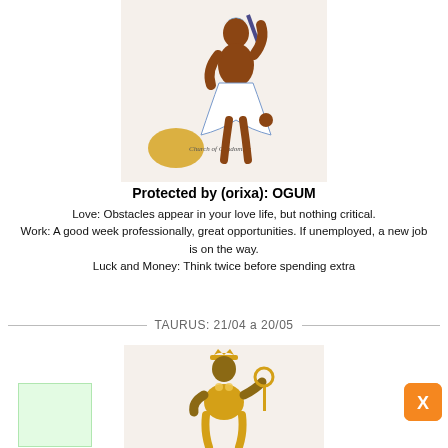[Figure (illustration): Illustration of Ogum orixa figure in terracotta/brown color, wearing white flowing skirt, with a sword and helmet, Church of Candomble logo at bottom]
Protected by (orixa): OGUM
Love: Obstacles appear in your love life, but nothing critical.
Work: A good week professionally, great opportunities. If unemployed, a new job is on the way.
Luck and Money: Think twice before spending extra
TAURUS: 21/04 a 20/05
[Figure (illustration): Illustration of a golden/yellow female orixa figure with crown and staff]
[Figure (other): Green semi-transparent box UI element]
[Figure (other): Orange X close button UI element]